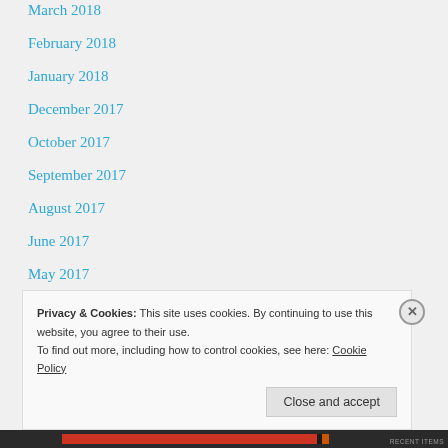March 2018
February 2018
January 2018
December 2017
October 2017
September 2017
August 2017
June 2017
May 2017
April 2017
Privacy & Cookies: This site uses cookies. By continuing to use this website, you agree to their use.
To find out more, including how to control cookies, see here: Cookie Policy
Close and accept